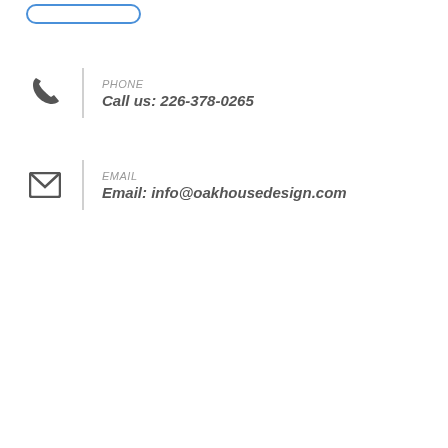[Figure (other): Blue outlined rounded rectangle button at top]
PHONE
Call us: 226-378-0265
EMAIL
Email: info@oakhousedesign.com